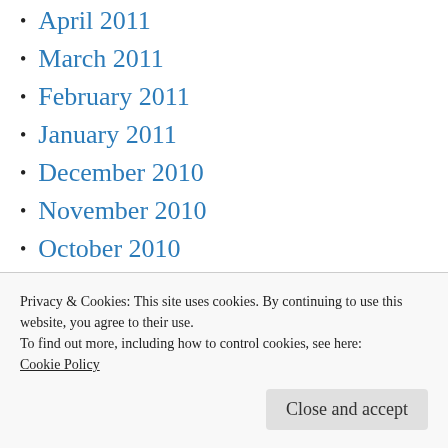April 2011
March 2011
February 2011
January 2011
December 2010
November 2010
October 2010
September 2010
August 2010
July 2010
June 2010
Privacy & Cookies: This site uses cookies. By continuing to use this website, you agree to their use.
To find out more, including how to control cookies, see here:
Cookie Policy
December 2009